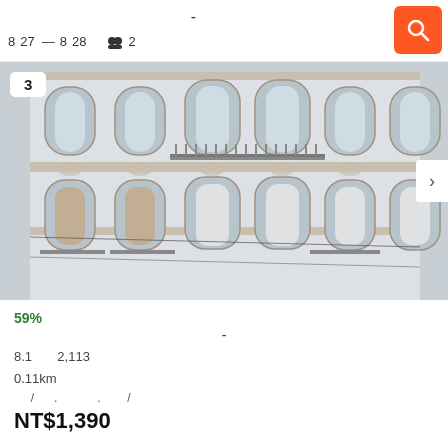-
8  27  —8  28   👥 2
[Figure (photo): Facade of a classic European apartment building with arched windows, wrought iron balconies, and stone ornamentation. Badge showing '3' in top left corner, next arrow button on right.]
59%
-
8.1    2,113
0.11km
/ . . /
NT$1,390